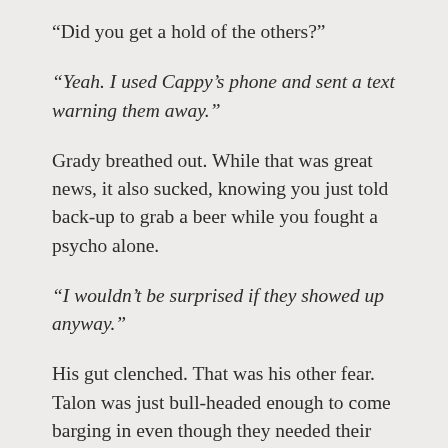“Did you get a hold of the others?”
“Yeah. I used Cappy’s phone and sent a text warning them away.”
Grady breathed out. While that was great news, it also sucked, knowing you just told back-up to grab a beer while you fought a psycho alone.
“I wouldn’t be surprised if they showed up anyway.”
His gut clenched. That was his other fear. Talon was just bull-headed enough to come barging in even though they needed their asset, the inside man, to stay safe.